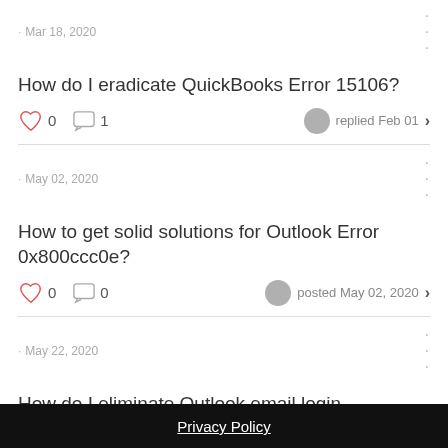· Mar 18, 2020
How do I eradicate QuickBooks Error 15106?
0 likes  1 comment  replied Feb 01
· May 02, 2020
How to get solid solutions for Outlook Error 0x800ccc0e?
0 likes  0 comments  posted May 02, 2020
· May 22, 2020
How do I eliminate Outlook email login problems?
1 like  8 comments  replied Jun 09
Privacy Policy